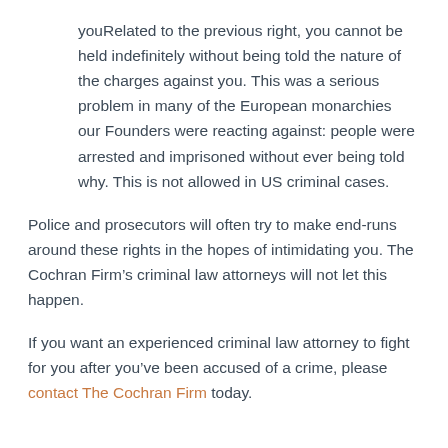youRelated to the previous right, you cannot be held indefinitely without being told the nature of the charges against you. This was a serious problem in many of the European monarchies our Founders were reacting against: people were arrested and imprisoned without ever being told why. This is not allowed in US criminal cases.
Police and prosecutors will often try to make end-runs around these rights in the hopes of intimidating you. The Cochran Firm’s criminal law attorneys will not let this happen.
If you want an experienced criminal law attorney to fight for you after you’ve been accused of a crime, please contact The Cochran Firm today.